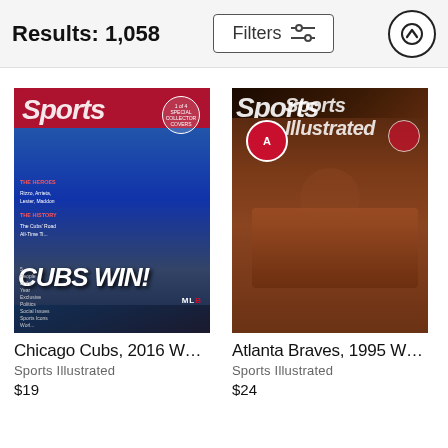Results: 1,058
Filters
[Figure (photo): Sports Illustrated magazine cover featuring Chicago Cubs celebrating 2016 World Series win with headline CUBS WIN!]
Chicago Cubs, 2016 Worl...
Sports Illustrated
$19
[Figure (photo): Sports Illustrated magazine cover featuring Atlanta Braves players celebrating 1995 World Series win]
Atlanta Braves, 1995 Worl...
Sports Illustrated
$24